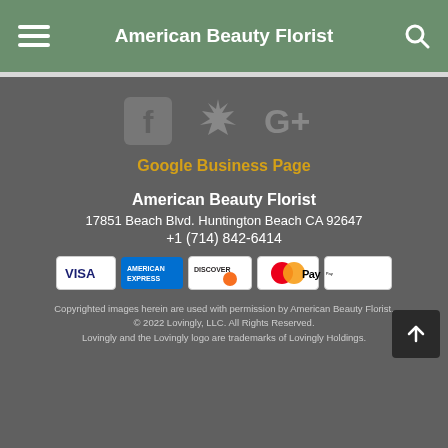American Beauty Florist
[Figure (logo): Social media icons: Facebook, Yelp, Google+]
Google Business Page
American Beauty Florist
17851 Beach Blvd. Huntington Beach CA 92647
+1 (714) 842-6414
[Figure (other): Payment method icons: Visa, American Express, Discover, Mastercard, Apple Pay]
Copyrighted images herein are used with permission by American Beauty Florist.
© 2022 Lovingly, LLC. All Rights Reserved.
Lovingly and the Lovingly logo are trademarks of Lovingly Holdings.